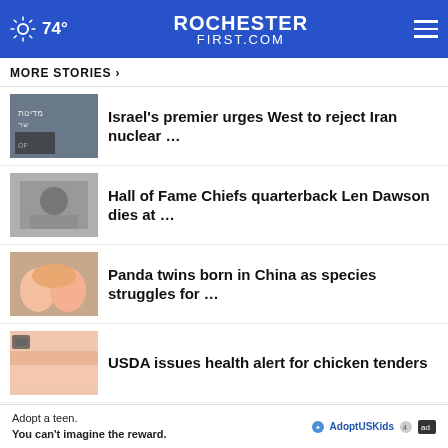74° ROCHESTERFIRST.COM
MORE STORIES ›
Israel's premier urges West to reject Iran nuclear …
Hall of Fame Chiefs quarterback Len Dawson dies at …
Panda twins born in China as species struggles for …
USDA issues health alert for chicken tenders
Sunrise Smart Start: Wednesday, August 24
Adopt a teen. You can't imagine the reward. AdoptUSKids ad